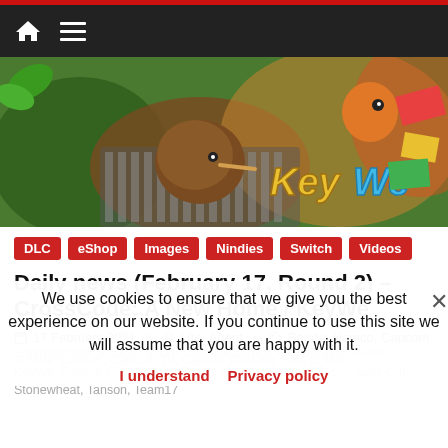Navigation bar with home icon and menu icon
[Figure (photo): KeyWe game promotional banner showing cartoon kiwi birds on a typewriter keyboard with colorful toy-like environment. 'KeyWe' logo in gold and blue stylized text on the right.]
DLC
eShop
Images
Nindies
Switch
Videos
Daily news (February 17, Round 2) – CrossCode: A New Home / KeyWe
17 February 2021   Lite_Agent   Bandai-Namco, Capcom
Arcade Stadium, Capcom TV, Captain Tsubasa: Rise of New
We use cookies to ensure that we give you the best experience on our website. If you continue to use this site we will assume that you are happy with it.
I understand   Privacy policy
Entertainment, Arcade: Mushrooms Resurrection, Hello-end Studios,
KeyWe, Radical Fish Games, Rogue Heroes: Ruins of Tasos, Sold Out,
Stonewheat, Tanson, Team17